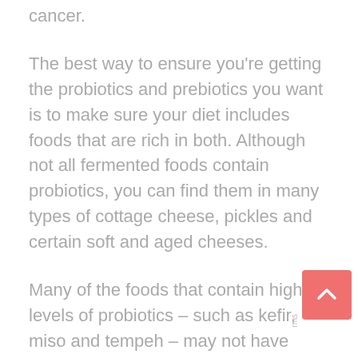cancer.
The best way to ensure you're getting the probiotics and prebiotics you want is to make sure your diet includes foods that are rich in both. Although not all fermented foods contain probiotics, you can find them in many types of cottage cheese, pickles and certain soft and aged cheeses.
Many of the foods that contain high levels of probiotics – such as kefir, miso and tempeh – may not have been familiar to most Americans before their benefits became widely known. On the other hand, foods that are filled with prebiotics should already be staples in a well-balanced diet. These include asparagus, mushrooms, onions, bananas, apples and wheat …
Keeping a sports team in good health is key to su…